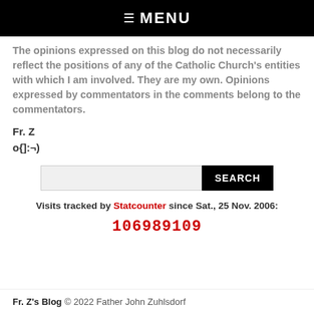☰ MENU
The opinions expressed on this blog do not necessarily reflect the positions of any of the Catholic Church's entities with which I am involved. They are my own. Opinions expressed by commentators in the comments belong to the commentators.
Fr. Z
o{]:¬)
SEARCH
Visits tracked by Statcounter since Sat., 25 Nov. 2006:
106989109
Fr. Z's Blog © 2022 Father John Zuhlsdorf